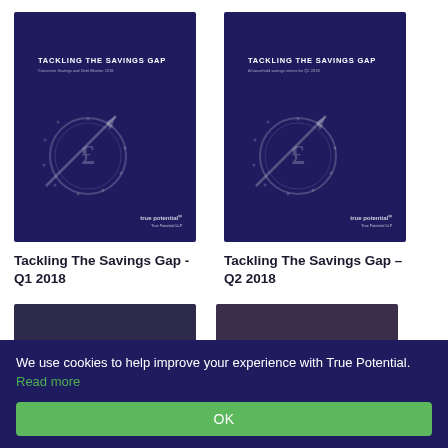[Figure (illustration): Dark navy blue book/report cover thumbnail for 'Tackling The Savings Gap Q1 2018' featuring a pound coin with an upward arrow graphic and True Potential logo]
Tackling The Savings Gap - Q1 2018
[Figure (illustration): Dark navy blue book/report cover thumbnail for 'Tackling The Savings Gap Q2 2018' featuring a pound coin with an upward arrow graphic and True Potential logo]
Tackling The Savings Gap – Q2 2018
[Figure (illustration): Partially visible dark purple/navy report cover thumbnail at bottom left]
[Figure (illustration): Partially visible dark purple/brown report cover thumbnail at bottom right]
We use cookies to help improve your experience with True Potential. Read more
OK